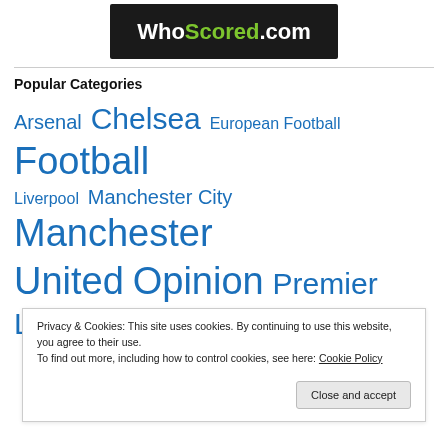[Figure (logo): WhoScored.com logo on dark background with green accent]
Popular Categories
Arsenal Chelsea European Football Football Liverpool Manchester City Manchester United Opinion Premier League
Privacy & Cookies: This site uses cookies. By continuing to use this website, you agree to their use.
To find out more, including how to control cookies, see here: Cookie Policy